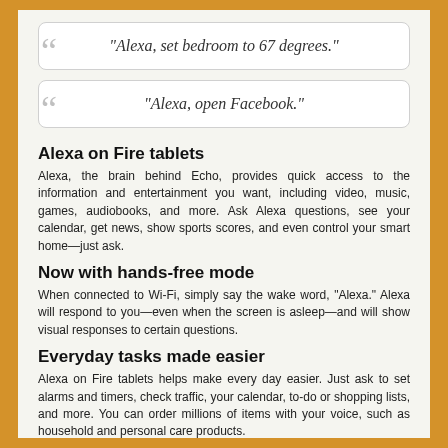“Alexa, set bedroom to 67 degrees.”
“Alexa, open Facebook.”
Alexa on Fire tablets
Alexa, the brain behind Echo, provides quick access to the information and entertainment you want, including video, music, games, audiobooks, and more. Ask Alexa questions, see your calendar, get news, show sports scores, and even control your smart home—just ask.
Now with hands-free mode
When connected to Wi-Fi, simply say the wake word, “Alexa.” Alexa will respond to you—even when the screen is asleep—and will show visual responses to certain questions.
Everyday tasks made easier
Alexa on Fire tablets helps make every day easier. Just ask to set alarms and timers, check traffic, your calendar, to-do or shopping lists, and more. You can order millions of items with your voice, such as household and personal care products.